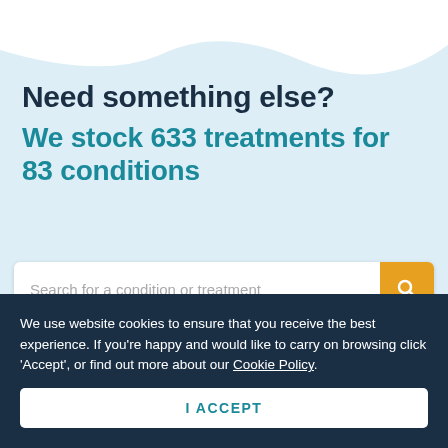Need something else?
We stock 633 treatments for 83 conditions
[Figure (screenshot): Search bar with placeholder text 'Search for a condition or treatment' and an orange search button]
We use website cookies to ensure that you receive the best experience. If you're happy and would like to carry on browsing click 'Accept', or find out more about our Cookie Policy.
I ACCEPT